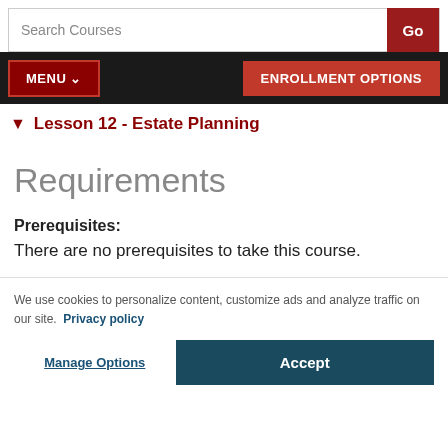Search Courses | Go
MENU | ENROLLMENT OPTIONS
Lesson 12 - Estate Planning
Requirements
Prerequisites:
There are no prerequisites to take this course.
We use cookies to personalize content, customize ads and analyze traffic on our site. Privacy policy
Manage Options | Accept